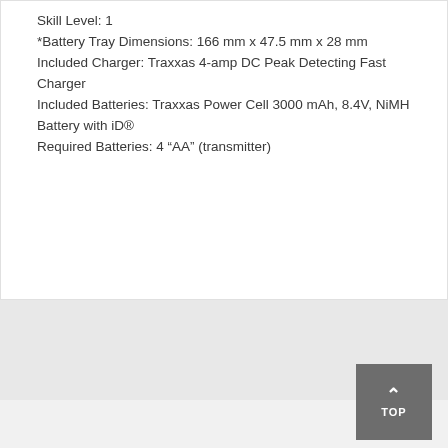Top Speed: 55 km/h
Skill Level:  1
*Battery Tray Dimensions:  166 mm x 47.5 mm x 28 mm
Included Charger:  Traxxas 4-amp DC Peak Detecting Fast Charger
Included Batteries:  Traxxas Power Cell 3000 mAh, 8.4V, NiMH Battery with iD®
Required Batteries:  4 “AA” (transmitter)